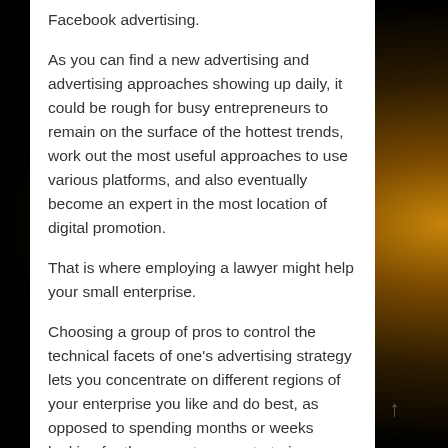Facebook advertising.

As you can find a new advertising and advertising approaches showing up daily, it could be rough for busy entrepreneurs to remain on the surface of the hottest trends, work out the most useful approaches to use various platforms, and also eventually become an expert in the most location of digital promotion.

That is where employing a lawyer might help your small enterprise.

Choosing a group of pros to control the technical facets of one's advertising strategy lets you concentrate on different regions of your enterprise you like and do best, as opposed to spending months or weeks looking for the correct person to train